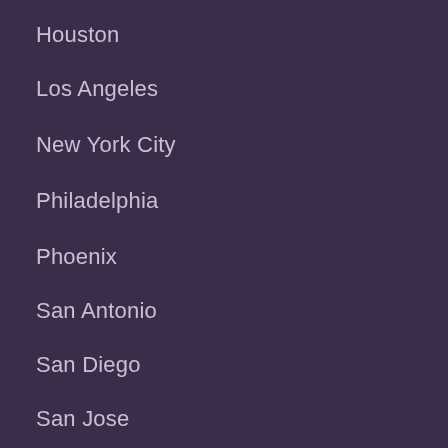Houston
Los Angeles
New York City
Philadelphia
Phoenix
San Antonio
San Diego
San Jose
Wedding Officiants
Chicago
Dallas